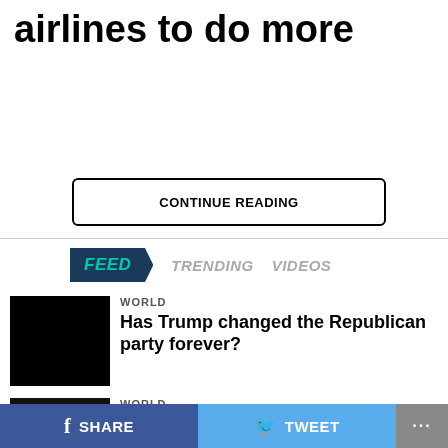airlines to do more
CONTINUE READING
FEED  TRENDING  VIDEOS
WORLD
Has Trump changed the Republican party forever?
WORLD
SHARE  TWEET  ...